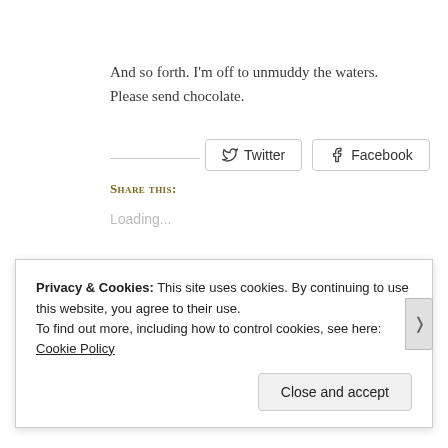And so forth. I'm off to unmuddy the waters. Please send chocolate.
Share this: Twitter Facebook
Loading...
Related
Privacy & Cookies: This site uses cookies. By continuing to use this website, you agree to their use.
To find out more, including how to control cookies, see here: Cookie Policy
Close and accept